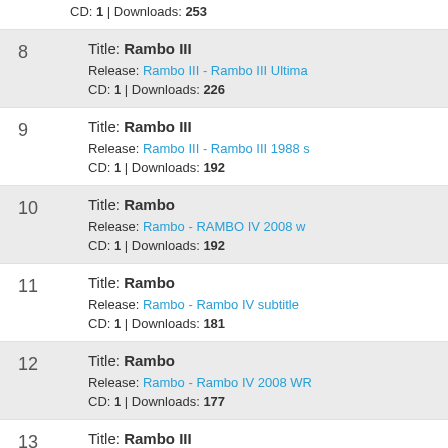CD: 1 | Downloads: 253
8  Title: Rambo III  Release: Rambo III - Rambo III Ultima...  CD: 1 | Downloads: 226
9  Title: Rambo III  Release: Rambo III - Rambo III 1988 s...  CD: 1 | Downloads: 192
10  Title: Rambo  Release: Rambo - RAMBO IV 2008 w...  CD: 1 | Downloads: 192
11  Title: Rambo  Release: Rambo - Rambo IV subtitle...  CD: 1 | Downloads: 181
12  Title: Rambo  Release: Rambo - Rambo IV 2008 WR...  CD: 1 | Downloads: 177
13  Title: Rambo III  Release: Rambo III - Rambo 3 subtitl...  CD: 1 | Downloads: 166